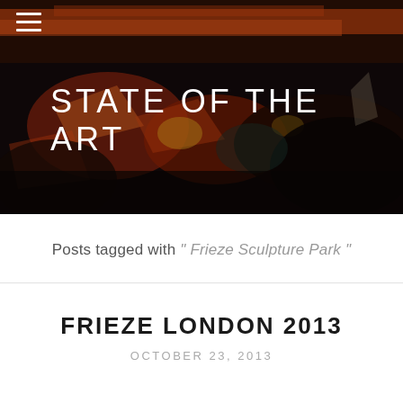[Figure (photo): Abstract expressionist painting used as hero background image. Dark tones with reds, oranges, browns, depicting chaotic figures and forms.]
≡
STATE OF THE ART
Posts tagged with " Frieze Sculpture Park "
FRIEZE LONDON 2013
OCTOBER 23, 2013